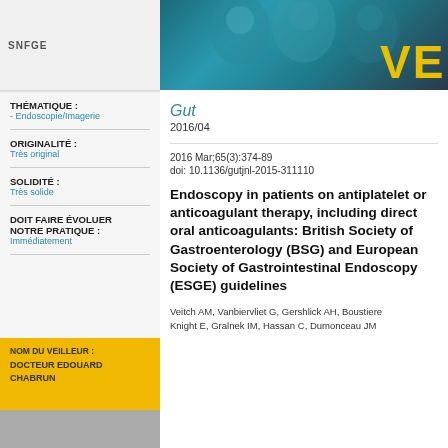[Figure (photo): Header banner with SNFGE logo on left, teal background with people faces and VEI text on right]
THÉMATIQUE : - Endoscopie/Imagerie
ORIGINALITÉ : Très original
SOLIDITÉ : Très solide
DOIT FAIRE ÉVOLUER NOTRE PRATIQUE : Immédiatement
NOM DU VEILLEUR : DOCTEUR EDOUARD CHABRUN
Gut
2016/04
2016 Mar;65(3):374-89
doi: 10.1136/gutjnl-2015-311110
Endoscopy in patients on antiplatelet or anticoagulant therapy, including direct oral anticoagulants: British Society of Gastroenterology (BSG) and European Society of Gastrointestinal Endoscopy (ESGE) guidelines
Veitch AM, Vanbiervliet G, Gershlick AH, Boustiere C, Baglin TP, Smith LA, Radaelli F, Knight E, Gralnek IM, Hassan C, Dumonceau JM